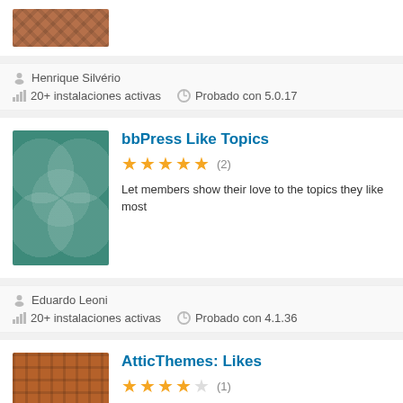[Figure (photo): Partial brown diamond/crosshatch pattern thumbnail at top of page]
Henrique Silvério
20+ instalaciones activas   Probado con 5.0.17
[Figure (photo): Teal green circular bokeh pattern thumbnail for bbPress Like Topics plugin]
bbPress Like Topics
★★★★★ (2)
Let members show their love to the topics they like most
Eduardo Leoni
20+ instalaciones activas   Probado con 4.1.36
[Figure (photo): Partial rust/orange plaid pattern thumbnail for AtticThemes: Likes plugin]
AtticThemes: Likes
★★★★☆ (1)